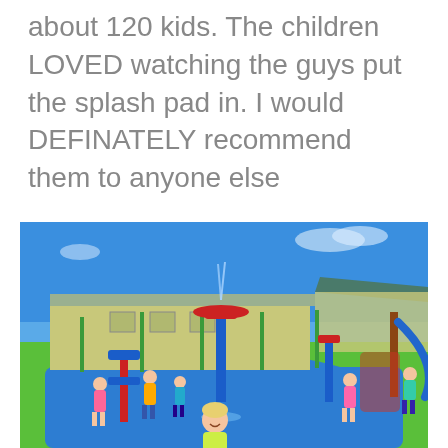about 120 kids. The children LOVED watching the guys put the splash pad in. I would DEFINATELY recommend them to anyone else
[Figure (photo): Children playing on a colorful outdoor splash pad / water play area with blue rubber flooring, red and blue water play structures, a fountain jet, and a covered pavilion building in the background under a blue sky.]